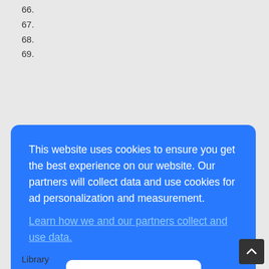66.
67.
68.
69.
Library
Library
Library
Library
This website uses cookies to ensure you get the best experience on our website. Our partners will collect data and use cookies for ad personalization and measurement. Learn how we and our partners collect and use data.
OK
Library